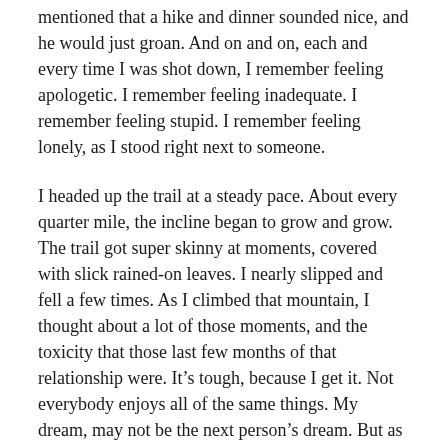mentioned that a hike and dinner sounded nice, and he would just groan. And on and on, each and every time I was shot down, I remember feeling apologetic. I remember feeling inadequate. I remember feeling stupid. I remember feeling lonely, as I stood right next to someone.
I headed up the trail at a steady pace. About every quarter mile, the incline began to grow and grow. The trail got super skinny at moments, covered with slick rained-on leaves. I nearly slipped and fell a few times. As I climbed that mountain, I thought about a lot of those moments, and the toxicity that those last few months of that relationship were. It’s tough, because I get it. Not everybody enjoys all of the same things. My dream, may not be the next person’s dream. But as I continued climbing, over that steadily increasing incline on that skinny path, I thought to myself:
Just because it isn’t your dream, doesn’t mean you have to hate on it.